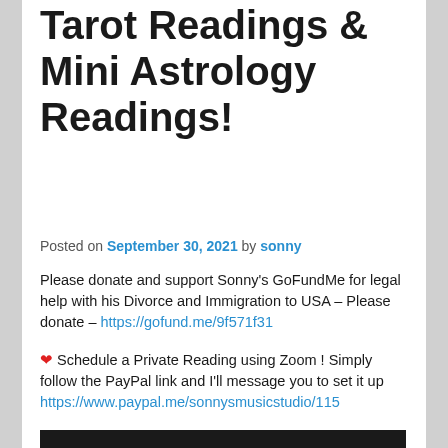Tarot Readings & Mini Astrology Readings!
Posted on September 30, 2021 by sonny
Please donate and support Sonny's GoFundMe for legal help with his Divorce and Immigration to USA – Please donate – https://gofund.me/9f571f31
❤ Schedule a Private Reading using Zoom ! Simply follow the PayPal link and I'll message you to set it up https://www.paypal.me/sonnysmusicstudio/115
[Figure (photo): Partial image of a person visible at the bottom of the page]